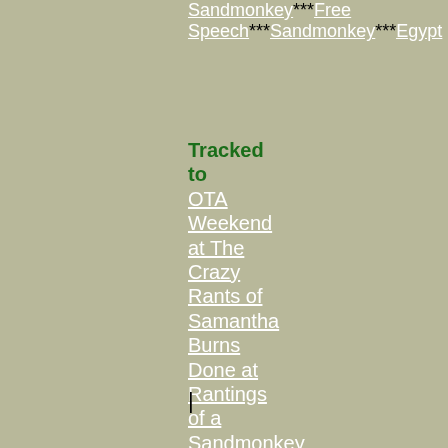Sandmonkey***Free Speech***Sandmonkey***Egypt
Tracked to OTA Weekend at The Crazy Rants of Samantha Burns Done at Rantings of a Sandmonkey
|